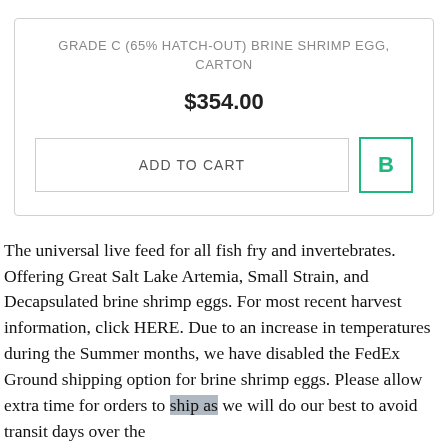GRADE C (65% HATCH-OUT) BRINE SHRIMP EGG, CARTON
$354.00
ADD TO CART
The universal live feed for all fish fry and invertebrates. Offering Great Salt Lake Artemia, Small Strain, and Decapsulated brine shrimp eggs. For most recent harvest information, click HERE. Due to an increase in temperatures during the Summer months, we have disabled the FedEx Ground shipping option for brine shrimp eggs. Please allow extra time for orders to ship as we will do our best to avoid transit days over the